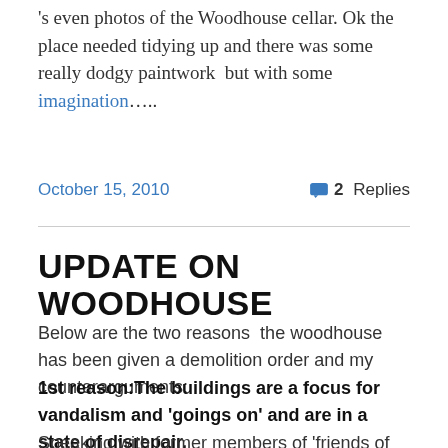's even photos of the Woodhouse cellar. Ok the place needed tidying up and there was some really dodgy paintwork  but with some imagination…..
October 15, 2010   💬 2 Replies
UPDATE ON WOODHOUSE
Below are the two reasons  the woodhouse has been given a demolition order and my counterarguments:
1st reason:The buildings are a focus for vandalism and 'goings on' and are in a state of disrepair.
Speaking with former members of 'friends of Hopwas